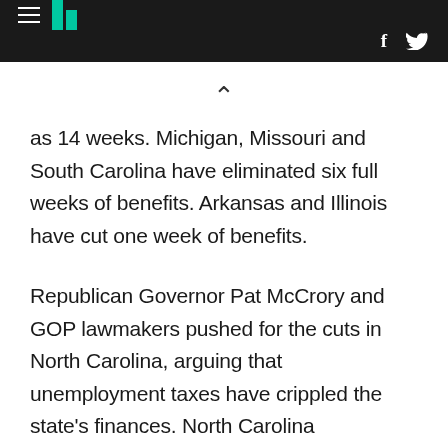HuffPost navigation header with hamburger menu, logo, Facebook and Twitter icons
as 14 weeks. Michigan, Missouri and South Carolina have eliminated six full weeks of benefits. Arkansas and Illinois have cut one week of benefits.
Republican Governor Pat McCrory and GOP lawmakers pushed for the cuts in North Carolina, arguing that unemployment taxes have crippled the state's finances. North Carolina businesses pay higher federal taxes because the state has been slow to repay $2.5 billion it borrowed from Washington to pay jobless benefits in recent